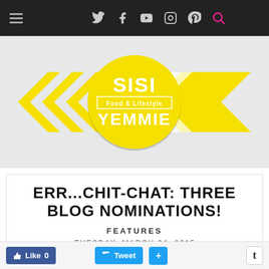Navigation bar with hamburger menu and social icons: Twitter, Facebook, YouTube, Instagram, Pinterest, Search
[Figure (logo): Sisi Yemmie Food & Lifestyle blog logo: yellow circle with SISI YEMMIE text and decorative chevron arrows on either side on a light grey background]
ERR...CHIT-CHAT: THREE BLOG NOMINATIONS!
FEATURES
TUESDAY, MARCH 24, 2015
Like 0   Tweet   +   t